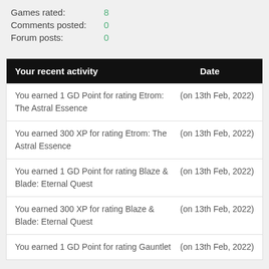Games rated: 8
Comments posted: 0
Forum posts: 0
| Your recent activity | Date |
| --- | --- |
| You earned 1 GD Point for rating Etrom: The Astral Essence | (on 13th Feb, 2022) |
| You earned 300 XP for rating Etrom: The Astral Essence | (on 13th Feb, 2022) |
| You earned 1 GD Point for rating Blaze & Blade: Eternal Quest | (on 13th Feb, 2022) |
| You earned 300 XP for rating Blaze & Blade: Eternal Quest | (on 13th Feb, 2022) |
| You earned 1 GD Point for rating Gauntlet | (on 13th Feb, 2022) |